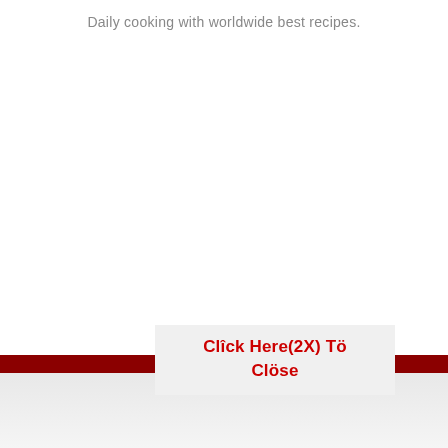Daily cooking with worldwide best recipes.
Click Here(2X) Tö Clöse